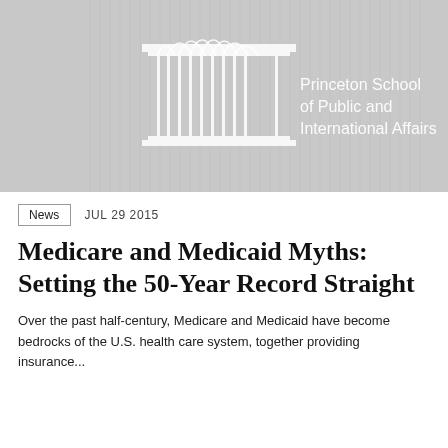[Figure (logo): Princeton School of Public and International Affairs logo banner — gray background with white architectural column illustration and white text reading 'Princeton School of Public and International Affairs']
News   JUL 29 2015
Medicare and Medicaid Myths: Setting the 50-Year Record Straight
Over the past half-century, Medicare and Medicaid have become bedrocks of the U.S. health care system, together providing insurance...